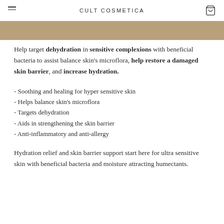CULT COSMETICA
[Figure (other): Tan/beige banner strip across the page]
Help target dehydration in sensitive complexions with beneficial bacteria to assist balance skin's microflora, help restore a damaged skin barrier, and increase hydration.
- Soothing and healing for hyper sensitive skin
- Helps balance skin's microflora
- Targets dehydration
- Aids in strengthening the skin barrier
- Anti-inflammatory and anti-allergy
Hydration relief and skin barrier support start here for ultra sensitive skin with beneficial bacteria and moisture attracting humectants.